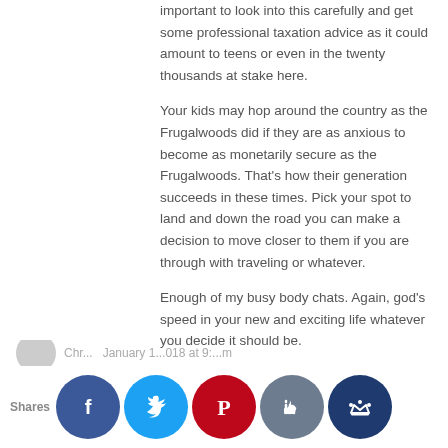important to look into this carefully and get some professional taxation advice as it could amount to teens or even in the twenty thousands at stake here.
Your kids may hop around the country as the Frugalwoods did if they are as anxious to become as monetarily secure as the Frugalwoods. That's how their generation succeeds in these times. Pick your spot to land and down the road you can make a decision to move closer to them if you are through with traveling or whatever.
Enough of my busy body chats. Again, god's speed in your new and exciting life whatever you decide it should be.
Reply
LOT  January 14, 2018 at 9:51 pm
Hi Lucy– I live in a very expensive town not too far from you I think. Your house is probably appreciating at almost the amount it costs you each year to run it. Of course that's never guaranteed, but worth considering.
Shares
[Figure (infographic): Social sharing buttons row: Facebook (blue circle with f), Twitter (cyan circle with bird), Pinterest (red circle with P), thumbs-up (slate circle), crown (dark blue circle). Partially visible at bottom of page.]
Chr...  January 1...018 at 9:...m